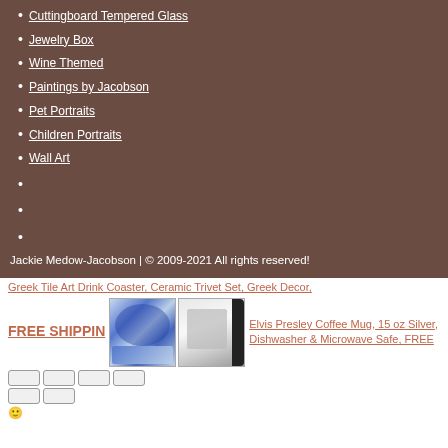Cuttingboard Tempered Glass
Jewelry Box
Wine Themed
Paintings by Jacobson
Pet Portraits
Children Portraits
Wall Art
Jackie Medow-Jacobson | © 2009-2021 All rights reserved!
Greek Tile Art Drink Coaster, Ceramic Trivet Set, Greek Decor,
FREE SHIPPIN
[Figure (photo): Greek tile art ceramic coaster/trivet set with blue and white pattern]
[Figure (photo): Elvis Presley coffee mug, 15 oz with black handle]
Elvis Presley Coffee Mug, 15 oz Silver, Dishwasher & Microwave Safe, FREE